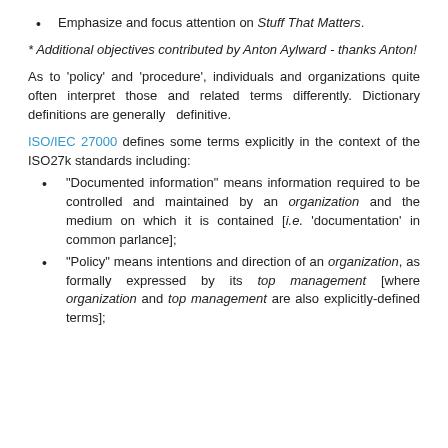Emphasize and focus attention on Stuff That Matters.
* Additional objectives contributed by Anton Aylward - thanks Anton!
As to 'policy' and 'procedure', individuals and organizations quite often interpret those and related terms differently. Dictionary definitions are generally definitive.
ISO/IEC 27000 defines some terms explicitly in the context of the ISO27k standards including:
“Documented information” means information required to be controlled and maintained by an organization and the medium on which it is contained [i.e. ‘documentation’ in common parlance];
“Policy” means intentions and direction of an organization, as formally expressed by its top management [where organization and top management are also explicitly-defined terms];